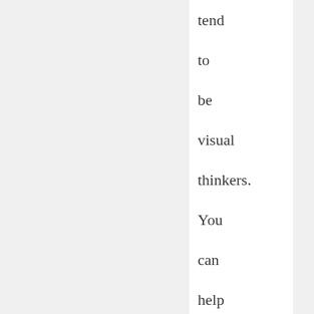tend to be visual thinkers. You can help them learn social skills by using pictures or drawings that